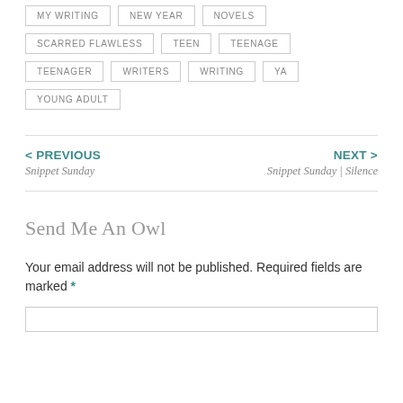MY WRITING
NEW YEAR
NOVELS
SCARRED FLAWLESS
TEEN
TEENAGE
TEENAGER
WRITERS
WRITING
YA
YOUNG ADULT
< PREVIOUS
Snippet Sunday
NEXT >
Snippet Sunday | Silence
Send Me An Owl
Your email address will not be published. Required fields are marked *